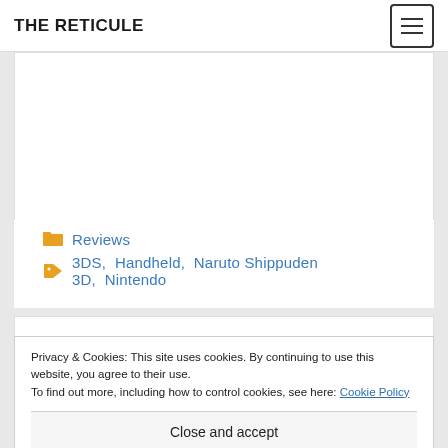THE RETICULE
Reviews
3DS, Handheld, Naruto Shippuden 3D, Nintendo
Privacy & Cookies: This site uses cookies. By continuing to use this website, you agree to their use. To find out more, including how to control cookies, see here: Cookie Policy
Close and accept